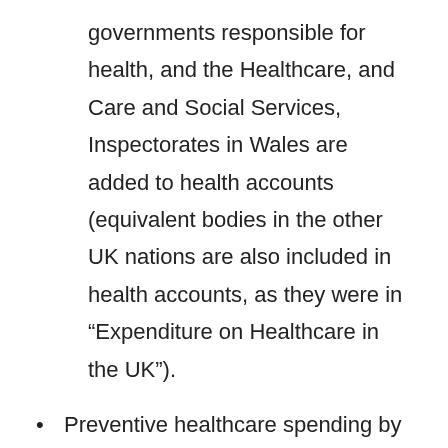governments responsible for health, and the Healthcare, and Care and Social Services, Inspectorates in Wales are added to health accounts (equivalent bodies in the other UK nations are also included in health accounts, as they were in “Expenditure on Healthcare in the UK”).
Preventive healthcare spending by non-health government bodies is added to the health accounts. Elements of the spending of the Food Standards Agency, Health and Safety Executive, Drinking Water Inspectorate and transport authorities, relating to information campaigns, risk analysis and making regulations to protect public